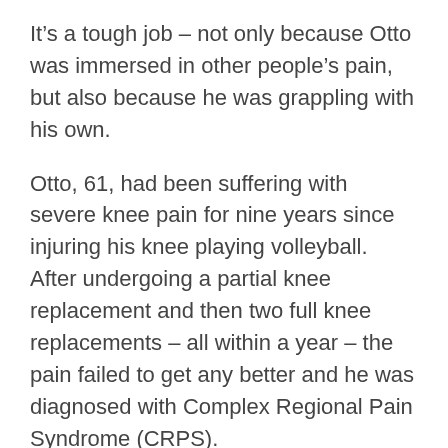It's a tough job – not only because Otto was immersed in other people's pain, but also because he was grappling with his own.
Otto, 61, had been suffering with severe knee pain for nine years since injuring his knee playing volleyball. After undergoing a partial knee replacement and then two full knee replacements – all within a year – the pain failed to get any better and he was diagnosed with Complex Regional Pain Syndrome (CRPS).
That's when Otto went to see Ajaz Siddiqui, M.D., pain management